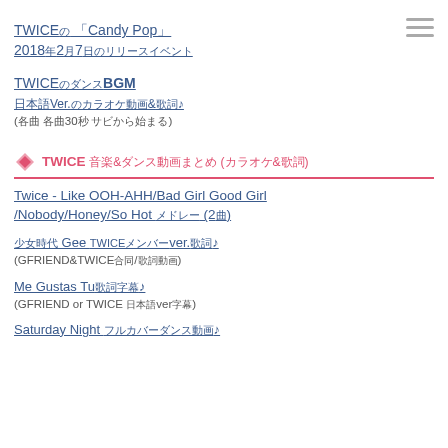TWICEの「Candy Pop」2018年2月7日のリリースイベント
TWICEのダンスBGM 日本語Ver.のカラオケ動画&歌詞♪ (各曲 各曲30秒 サビから始まる)
TWICE 音楽&ダンス動画まとめ (カラオケ&歌詞)
Twice - Like OOH-AHH/Bad Girl Good Girl/Nobody/Honey/So Hot メドレー (2曲)
少女時代 Gee TWICEメンバーver.歌詞♪ (GFRIEND&TWICE合同/歌詞動画)
Me Gustas Tu歌詞字幕♪ (GFRIEND or TWICE 日本語ver字幕)
Saturday Night フルカバーダンス動画♪